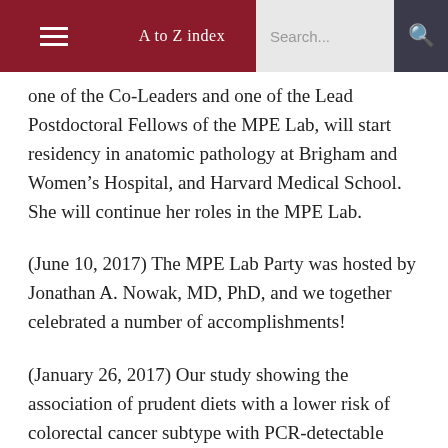A to Z index  Search...
one of the Co-Leaders and one of the Lead Postdoctoral Fellows of the MPE Lab, will start residency in anatomic pathology at Brigham and Women’s Hospital, and Harvard Medical School. She will continue her roles in the MPE Lab.
(June 10, 2017) The MPE Lab Party was hosted by Jonathan A. Nowak, MD, PhD, and we together celebrated a number of accomplishments!
(January 26, 2017) Our study showing the association of prudent diets with a lower risk of colorectal cancer subtype with PCR-detectable Fusobacterium nucleatum appeared in JAMA Oncology.